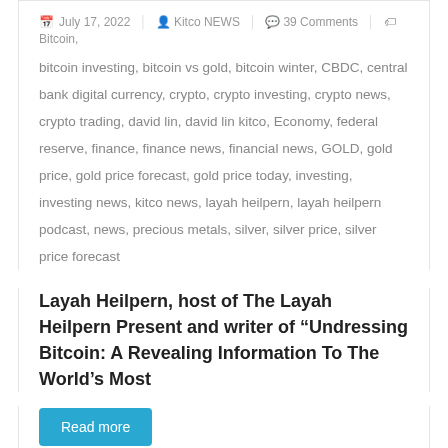July 17, 2022  Kitco NEWS  39 Comments  Bitcoin, bitcoin investing, bitcoin vs gold, bitcoin winter, CBDC, central bank digital currency, crypto, crypto investing, crypto news, crypto trading, david lin, david lin kitco, Economy, federal reserve, finance, finance news, financial news, GOLD, gold price, gold price forecast, gold price today, investing, investing news, kitco news, layah heilpern, layah heilpern podcast, news, precious metals, silver, silver price, silver price forecast
Layah Heilpern, host of The Layah Heilpern Present and writer of "Undressing Bitcoin: A Revealing Information To The World's Most
Read more
[Figure (photo): Bottom portion of a news article card showing a dark/black background image with yellow bar at bottom, white bold text logo letters on left, a silhouetted head in center, a green vertical bar on right, and a teal upward-pointing chevron arrow in upper right.]